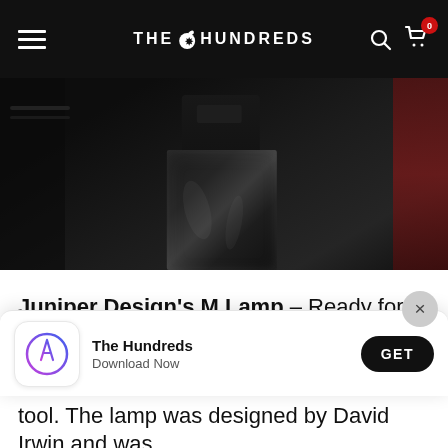THE HUNDREDS
[Figure (photo): Dark photo of a person in shiny black shorts/leather pants in a boxing gym with red walls and gym equipment in background]
Juniper Design's M Lamp – Ready for the zombie apocalypse? If you aren't you better get your ducks in a row. The lamp was designed by David Irwin and was
[Figure (screenshot): App download banner: The Hundreds app icon with App Store logo, text 'The Hundreds / Download Now', and black GET button]